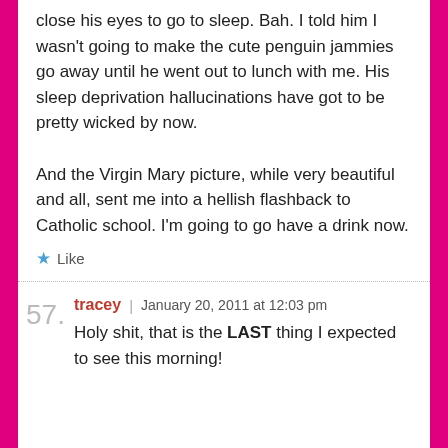close his eyes to go to sleep. Bah. I told him I wasn't going to make the cute penguin jammies go away until he went out to lunch with me. His sleep deprivation hallucinations have got to be pretty wicked by now.
And the Virgin Mary picture, while very beautiful and all, sent me into a hellish flashback to Catholic school. I'm going to go have a drink now.
★ Like
57. tracey | January 20, 2011 at 12:03 pm
Holy shit, that is the LAST thing I expected to see this morning!